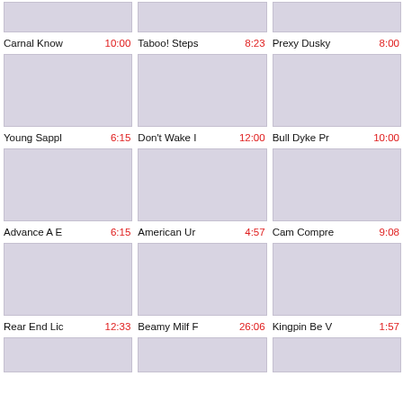[Figure (other): Thumbnail placeholder row 0 col 0]
[Figure (other): Thumbnail placeholder row 0 col 1]
[Figure (other): Thumbnail placeholder row 0 col 2]
Carnal Know 10:00
Taboo! Steps 8:23
Prexy Dusky 8:00
[Figure (other): Thumbnail placeholder row 1 col 0]
[Figure (other): Thumbnail placeholder row 1 col 1]
[Figure (other): Thumbnail placeholder row 1 col 2]
Young Sappl 6:15
Don't Wake I 12:00
Bull Dyke Pr 10:00
[Figure (other): Thumbnail placeholder row 2 col 0]
[Figure (other): Thumbnail placeholder row 2 col 1]
[Figure (other): Thumbnail placeholder row 2 col 2]
Advance A E 6:15
American Ur 4:57
Cam Compre 9:08
[Figure (other): Thumbnail placeholder row 3 col 0]
[Figure (other): Thumbnail placeholder row 3 col 1]
[Figure (other): Thumbnail placeholder row 3 col 2]
Rear End Lic 12:33
Beamy Milf F 26:06
Kingpin Be V 1:57
[Figure (other): Thumbnail placeholder row 4 col 0]
[Figure (other): Thumbnail placeholder row 4 col 1]
[Figure (other): Thumbnail placeholder row 4 col 2]